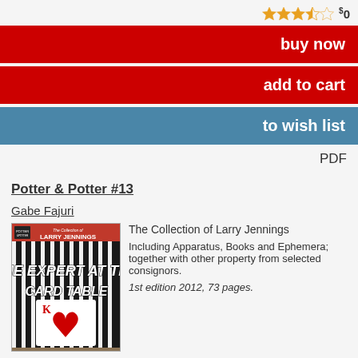★★★☆☆  $0
buy now
add to cart
to wish list
PDF
Potter & Potter #13
Gabe Fajuri
[Figure (photo): Book cover of 'The Expert at the Card Table' with Potter & Potter branding, featuring playing card imagery]
The Collection of Larry Jennings
Including Apparatus, Books and Ephemera; together with other property from selected consignors.
1st edition 2012, 73 pages.